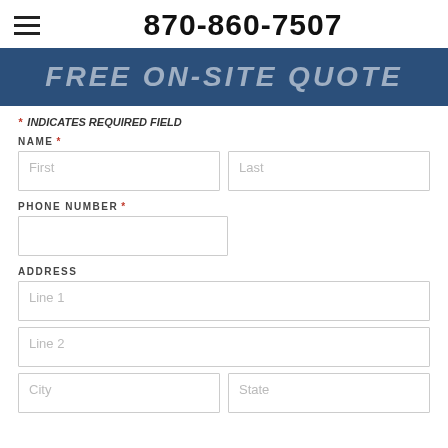870-860-7507
[Figure (other): Dark blue banner with italic bold white text 'FREE ON-SITE QUOTE']
* INDICATES REQUIRED FIELD
NAME *
First
Last
PHONE NUMBER *
ADDRESS
Line 1
Line 2
City
State